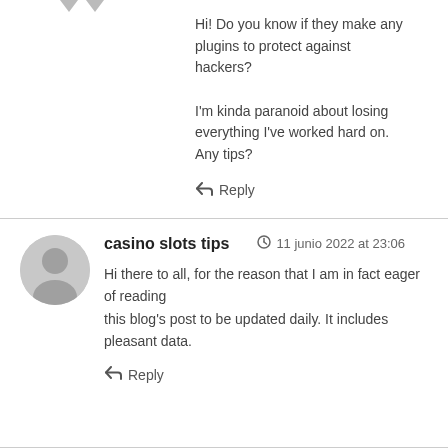Hi! Do you know if they make any plugins to protect against hackers?

I'm kinda paranoid about losing everything I've worked hard on. Any tips?
↩ Reply
casino slots tips  🕐 11 junio 2022 at 23:06
Hi there to all, for the reason that I am in fact eager of reading
this blog's post to be updated daily. It includes pleasant data.
↩ Reply